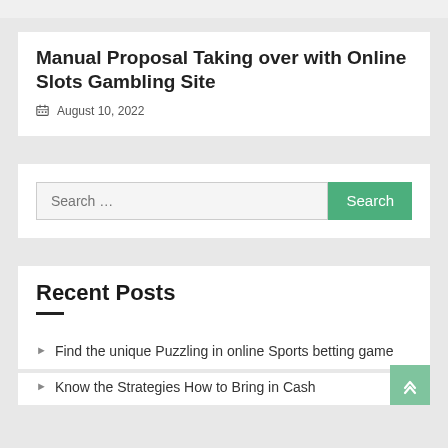Manual Proposal Taking over with Online Slots Gambling Site
August 10, 2022
Search …
Recent Posts
Find the unique Puzzling in online Sports betting game
Know the Strategies How to Bring in Cash